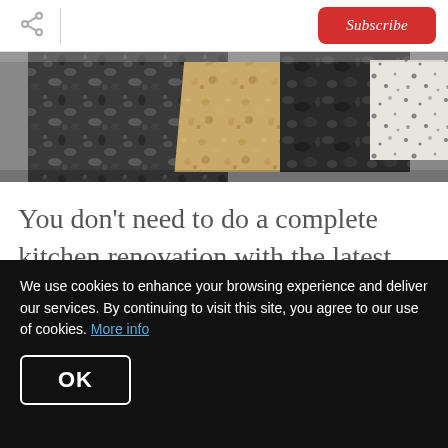Share | Subscribe
[Figure (photo): Close-up photo of various stone/granite countertop samples including dark speckled stone, sandy/golden stone, dark textured stone, and white granite with black flecks]
You don’t need to do a complete kitchen renovation with the latest appliances and
We use cookies to enhance your browsing experience and deliver our services. By continuing to visit this site, you agree to our use of cookies. More info
OK